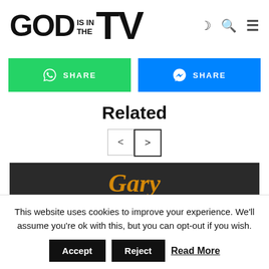GOD IS IN THE TV
SHARE (WhatsApp)
SHARE (Messenger)
Related
[Figure (screenshot): Navigation arrows (< and >) for related content carousel]
[Figure (screenshot): Partial preview image with dark background and orange italic text 'Gary']
This website uses cookies to improve your experience. We'll assume you're ok with this, but you can opt-out if you wish.
Accept   Reject   Read More